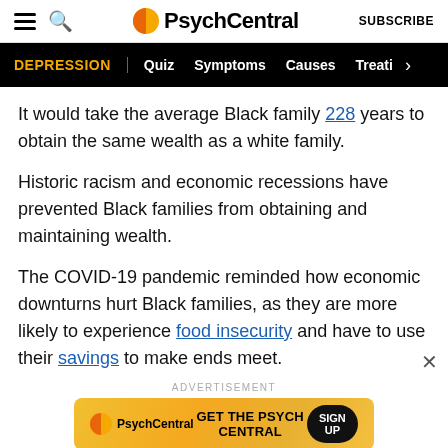PsychCentral | SUBSCRIBE
DEPRESSION | Quiz | Symptoms | Causes | Treati >
It would take the average Black family 228 years to obtain the same wealth as a white family.
Historic racism and economic recessions have prevented Black families from obtaining and maintaining wealth.
The COVID-19 pandemic reminded how economic downturns hurt Black families, as they are more likely to experience food insecurity and have to use their savings to make ends meet.
[Figure (screenshot): PsychCentral advertisement banner with orange/yellow gradient background, logo, GET THE PSYCH CENTRAL text, and SIGN UP button]